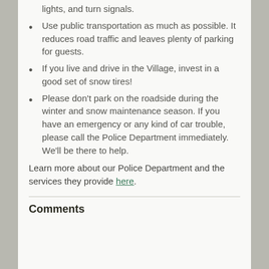lights, and turn signals.
Use public transportation as much as possible. It reduces road traffic and leaves plenty of parking for guests.
If you live and drive in the Village, invest in a good set of snow tires!
Please don't park on the roadside during the winter and snow maintenance season. If you have an emergency or any kind of car trouble, please call the Police Department immediately. We'll be there to help.
Learn more about our Police Department and the services they provide here.
Comments